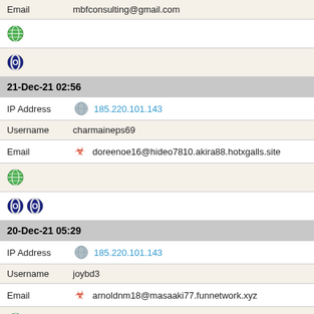| Email | mbfconsulting@gmail.com |
| [globe icon] |
| [opera icon] |
| 21-Dec-21 02:56 |
| IP Address | 185.220.101.143 |
| Username | charmaineps69 |
| Email | doreenoe16@hideo7810.akira88.hotxgalls.site |
| [globe icon] |
| [opera icon] [opera icon] |
| 20-Dec-21 05:29 |
| IP Address | 185.220.101.143 |
| Username | joybd3 |
| Email | arnoldnm18@masaaki77.funnetwork.xyz |
| [globe icon] |
| [opera icon] [opera icon] |
| 19-Dec-21 04:52 |
| IP Address | 185.220.101.143 |